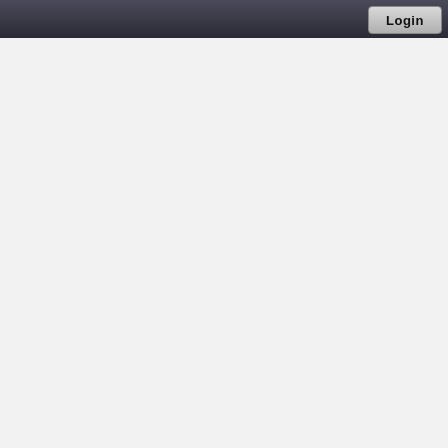Login
locks deck
Spas will h
Dete
Squa
Recta
Squa
Recta
Squa
Recta
Squa
Squa
Ellips mode
True
Off-s
Six S